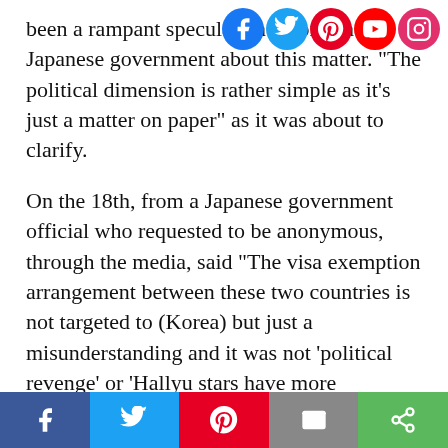FOLLOW DKP OF NEWS: [social icons: Facebook, Twitter, Pinterest, YouTube, Instagram]
been a rampant speculation among the Japanese government about this matter. "The political dimension is rather simple as it's just a matter on paper" as it was about to clarify.
On the 18th, from a Japanese government official who requested to be anonymous, through the media, said "The visa exemption arrangement between these two countries is not targeted to (Korea) but just a misunderstanding and it was not 'political revenge' or 'Hallyu stars have more enhanced entry process' thus it is not relevant".
When they are refused entry at Haneda Airport Branch, third party officials of Tokyo Regional
[Share bar: Facebook, Twitter, Pinterest, Email, Share]